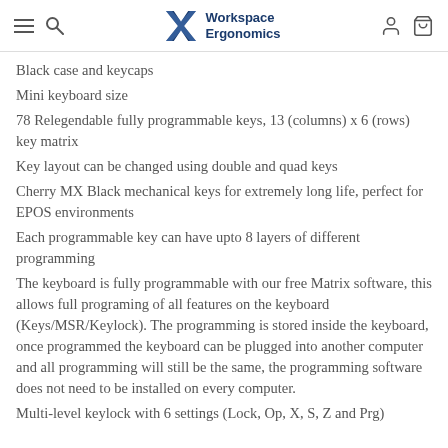Workspace Ergonomics
Black case and keycaps
Mini keyboard size
78 Relegendable fully programmable keys, 13 (columns) x 6 (rows) key matrix
Key layout can be changed using double and quad keys
Cherry MX Black mechanical keys for extremely long life, perfect for EPOS environments
Each programmable key can have upto 8 layers of different programming
The keyboard is fully programmable with our free Matrix software, this allows full programing of all features on the keyboard (Keys/MSR/Keylock). The programming is stored inside the keyboard, once programmed the keyboard can be plugged into another computer and all programming will still be the same, the programming software does not need to be installed on every computer.
Multi-level keylock with 6 settings (Lock, Op, X, S, Z and Prg)